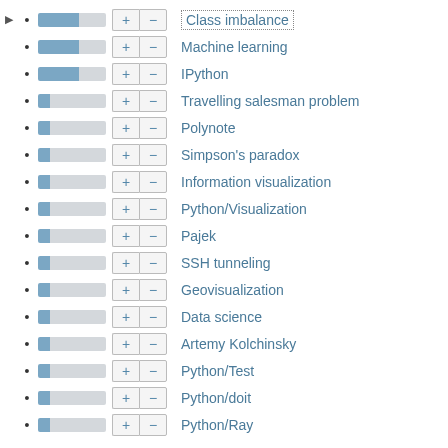Class imbalance
Machine learning
IPython
Travelling salesman problem
Polynote
Simpson's paradox
Information visualization
Python/Visualization
Pajek
SSH tunneling
Geovisualization
Data science
Artemy Kolchinsky
Python/Test
Python/doit
Python/Ray